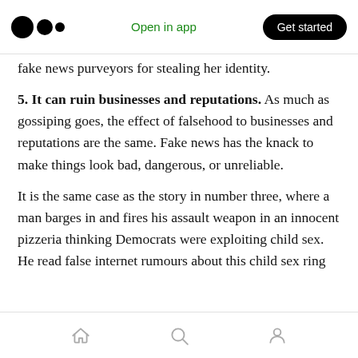Medium logo | Open in app | Get started
fake news purveyors for stealing her identity.
5. It can ruin businesses and reputations. As much as gossiping goes, the effect of falsehood to businesses and reputations are the same. Fake news has the knack to make things look bad, dangerous, or unreliable.
It is the same case as the story in number three, where a man barges in and fires his assault weapon in an innocent pizzeria thinking Democrats were exploiting child sex. He read false internet rumours about this child sex ring
Home | Search | Profile